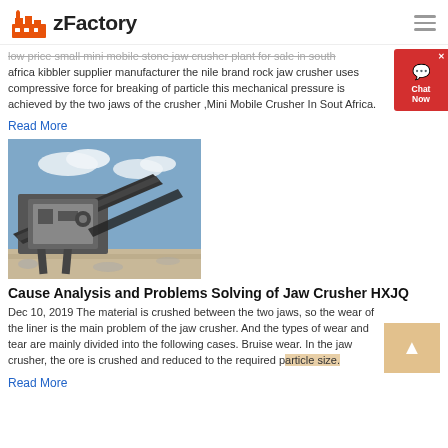zFactory
low price small mini mobile stone jaw crusher plant for sale in south africa kibbler supplier manufacturer the nile brand rock jaw crusher uses compressive force for breaking of particle this mechanical pressure is achieved by the two jaws of the crusher ,Mini Mobile Crusher In South Africa.
Read More
[Figure (photo): Industrial jaw crusher / mobile stone crushing plant machine on a construction site with blue sky background]
Cause Analysis and Problems Solving of Jaw Crusher HXJQ
Dec 10, 2019  The material is crushed between the two jaws, so the wear of the liner is the main problem of the jaw crusher. And the types of wear and tear are mainly divided into the following cases. Bruise wear. In the jaw crusher, the ore is crushed and reduced to the required particle size.
Read More